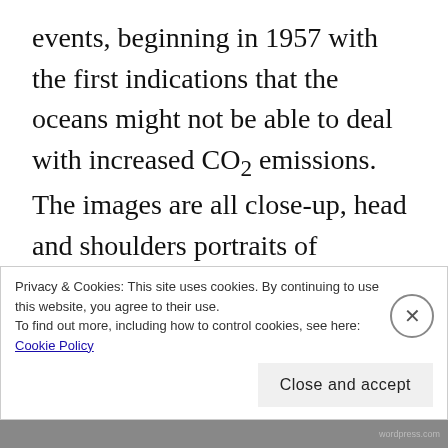events, beginning in 1957 with the first indications that the oceans might not be able to deal with increased CO2 emissions.  The images are all close-up, head and shoulders portraits of conference delegates that appear to have been made during the proceedings. All of the individuals depicted (with the exception of a solitary Asian man who is fast asleep) exhibit the signifiers of gravitas and pensive concentration. None of them appear to acknowledge the camera; to do so would show that they were not paying sufficient attention to the important proceedings taking place. Public
Privacy & Cookies: This site uses cookies. By continuing to use this website, you agree to their use.
To find out more, including how to control cookies, see here: Cookie Policy
Close and accept